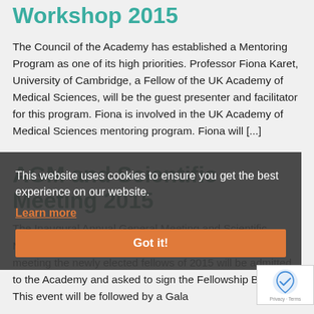Effective Mentoring Workshop 2015
The Council of the Academy has established a Mentoring Program as one of its high priorities. Professor Fiona Karet, University of Cambridge, a Fellow of the UK Academy of Medical Sciences, will be the guest presenter and facilitator for this program. Fiona is involved in the UK Academy of Medical Sciences mentoring program. Fiona will [...]
AGM and Scientific Meeting 2015
The Inaugural Annual General Meeting and Scientific Meeting of the Academy will be held in Canberra. At this meeting the newly elected fellows of 2015 will be admitted to the Academy and asked to sign the Fellowship Book. This event will be followed by a Gala
This website uses cookies to ensure you get the best experience on our website.
Learn more
Got it!